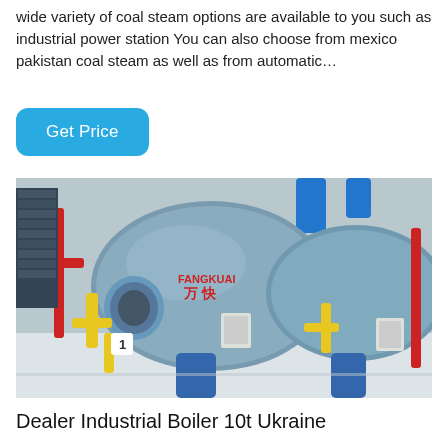wide variety of coal steam options are available to you such as industrial power station You can also choose from mexico pakistan coal steam as well as from automatic…
Get Price
[Figure (photo): Industrial boiler facility showing large cylindrical steam boilers with colorful pipework (red, yellow, blue) in a clean industrial setting. Chinese text 万快 visible on the main boiler.]
Dealer Industrial Boiler 10t Ukraine